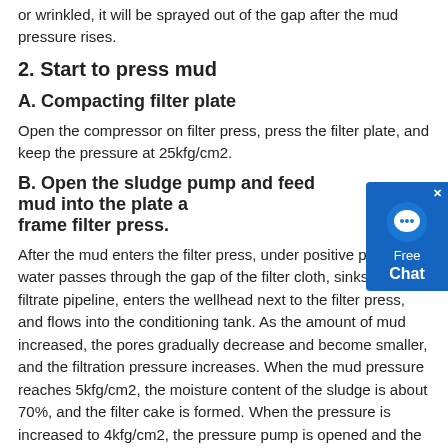or wrinkled, it will be sprayed out of the gap after the mud pressure rises.
2. Start to press mud
A. Compacting filter plate
Open the compressor on filter press, press the filter plate, and keep the pressure at 25kfg/cm2.
B. Open the sludge pump and feed mud into the plate and frame filter press.
After the mud enters the filter press, under positive pressure, water passes through the gap of the filter cloth, sinks into the filtrate pipeline, enters the wellhead next to the filter press, and flows into the conditioning tank. As the amount of mud increased, the pores gradually decrease and become smaller, and the filtration pressure increases. When the mud pressure reaches 5kfg/cm2, the moisture content of the sludge is about 70%, and the filter cake is formed. When the pressure is increased to 4kfg/cm2, the pressure pump is opened and the pressure is too large. When the pressure is too small, the
[Figure (other): Blue chat widget overlay with speech bubble icon, showing 'Free Chat' text and a close (x) button.]